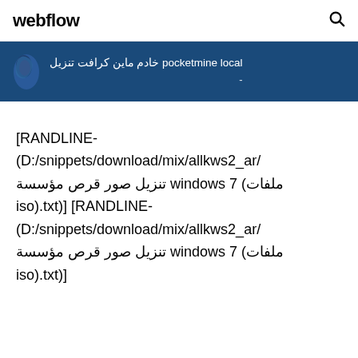webflow
pocketmine local تنزيل كرافت ماين خادم
[RANDLINE-(D:/snippets/download/mix/allkws2_ar/ملفات) windows 7 تنزيل صور قرص مؤسسة iso).txt)] [RANDLINE-(D:/snippets/download/mix/allkws2_ar/ملفات) windows 7 تنزيل صور قرص مؤسسة iso).txt)]